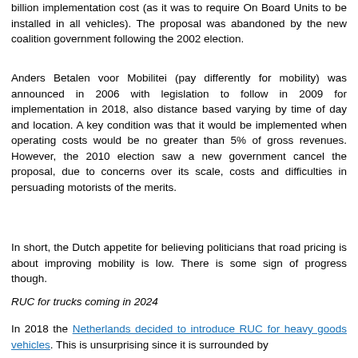billion implementation cost (as it was to require On Board Units to be installed in all vehicles). The proposal was abandoned by the new coalition government following the 2002 election.
Anders Betalen voor Mobilitei (pay differently for mobility) was announced in 2006 with legislation to follow in 2009 for implementation in 2018, also distance based varying by time of day and location. A key condition was that it would be implemented when operating costs would be no greater than 5% of gross revenues. However, the 2010 election saw a new government cancel the proposal, due to concerns over its scale, costs and difficulties in persuading motorists of the merits.
In short, the Dutch appetite for believing politicians that road pricing is about improving mobility is low. There is some sign of progress though.
RUC for trucks coming in 2024
In 2018 the Netherlands decided to introduce RUC for heavy goods vehicles. This is unsurprising since it is surrounded by